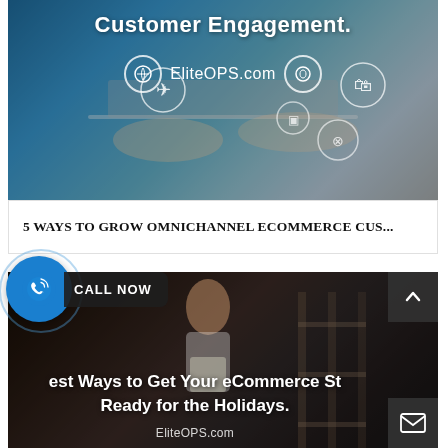[Figure (screenshot): Website screenshot showing 'Customer Engagement.' text with EliteOPS.com branding overlay on a photo of hands on a laptop with circular icons]
5 WAYS TO GROW OMNICHANNEL ECOMMERCE CUS...
[Figure (screenshot): Website screenshot showing 'Best Ways to Get Your eCommerce Store Ready for the Holidays.' with EliteOPS.com branding, overlaid on a dark photo of a woman in a store, with a 'CALL NOW' badge and phone icon]